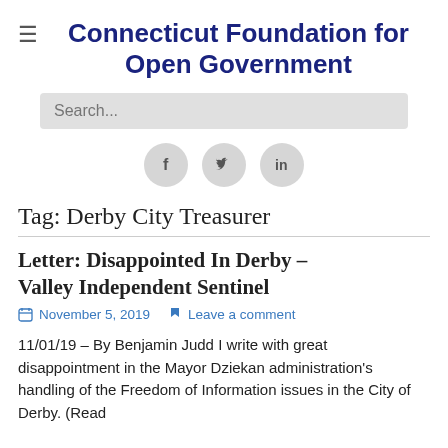Connecticut Foundation for Open Government
[Figure (screenshot): Search bar input field with placeholder text 'Search...']
[Figure (infographic): Three circular social media icons: Facebook (f), Twitter (bird), LinkedIn (in)]
Tag: Derby City Treasurer
Letter: Disappointed In Derby – Valley Independent Sentinel
November 5, 2019   Leave a comment
11/01/19 – By Benjamin Judd I write with great disappointment in the Mayor Dziekan administration's handling of the Freedom of Information issues in the City of Derby. (Read